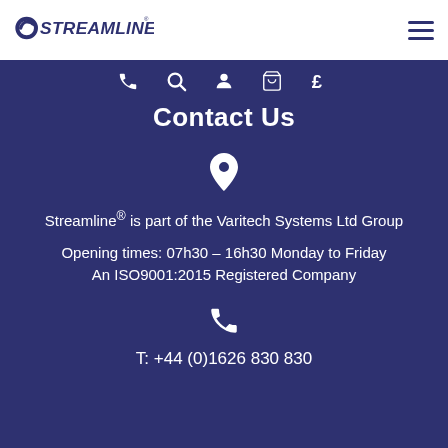[Figure (logo): Streamline logo with swirl icon and bold italic text]
Contact Us
[Figure (infographic): Location pin icon]
Streamline® is part of the Varitech Systems Ltd Group
Opening times: 07h30 – 16h30 Monday to Friday
An ISO9001:2015 Registered Company
[Figure (infographic): Phone icon]
T: +44 (0)1626 830 830